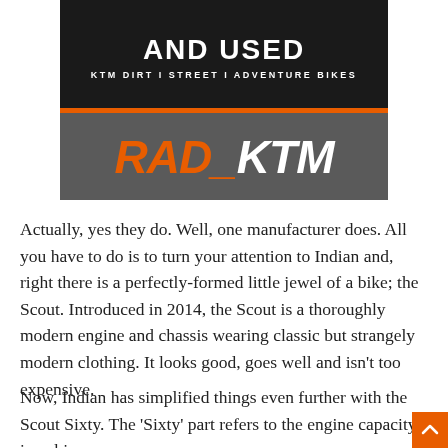[Figure (logo): RAD_KTM banner logo. Dark background top section with 'AND USED' in white bold text and 'KTM DIRT | STREET | ADVENTURE BIKES' subtitle. Orange bar divider. Grey bottom section with 'RAD_' in orange italic bold and 'KTM' in white italic bold.]
Actually, yes they do. Well, one manufacturer does. All you have to do is to turn your attention to Indian and, right there is a perfectly-formed little jewel of a bike; the Scout. Introduced in 2014, the Scout is a thoroughly modern engine and chassis wearing classic but strangely modern clothing. It looks good, goes well and isn’t too expensive.
Now, Indian has simplified things even further with the Scout Sixty. The ‘Sixty’ part refers to the engine capacity in cubic inches, which translates to 999cc, 73bb, and 33ft’ per lb.